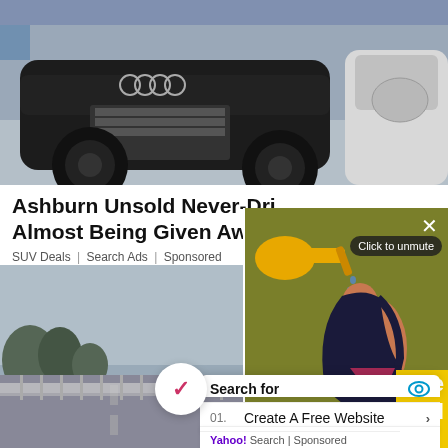[Figure (photo): Photo of dark Audi SUV and white car in a parking lot, front view]
Ashburn Unsold Never-Driven SUVs Are Almost Being Given Away
SUV Deals | Search Ads | Sponsored
[Figure (photo): Road/highway photo with trees in cloudy weather]
[Figure (illustration): Animated illustration of a woman with dark hair watering plants, olive/yellow background, muted video overlay with X close button and 'Click to unmute' button]
Search for
01. Create A Free Website
02. Pre-Approved Personal Loans
Yahoo! Search | Sponsored